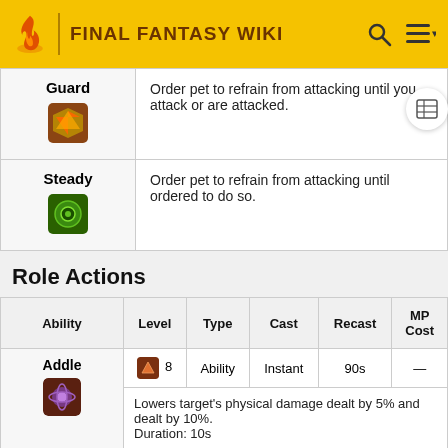FINAL FANTASY WIKI
| Ability | Description |
| --- | --- |
| Guard | Order pet to refrain from attacking until you attack or are attacked. |
| Steady | Order pet to refrain from attacking until ordered to do so. |
Role Actions
| Ability | Level | Type | Cast | Recast | MP Cost |
| --- | --- | --- | --- | --- | --- |
| Addle | 8 | Ability | Instant | 90s | — |
|  | Lowers target's physical damage dealt by 5% and dealt by 10%.
Duration: 10s |  |  |  |  |